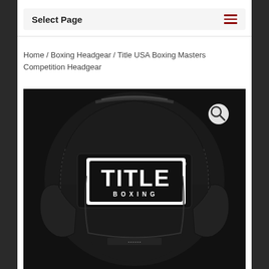Select Page
Home / Boxing Headgear / Title USA Boxing Masters Competition Headgear
[Figure (photo): Black Title Boxing headgear/helmet with white TITLE BOXING logo patch on the front, shown against a dark background. A search magnifying glass icon is visible in the upper right of the image.]